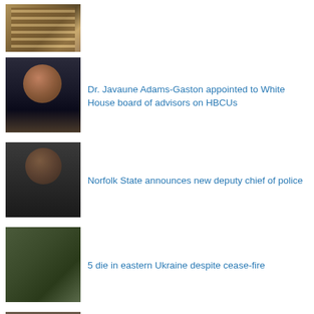[Figure (photo): Partial view of a brick building (top portion cropped)]
[Figure (photo): Portrait of Dr. Javaune Adams-Gaston, a woman in professional attire]
Dr. Javaune Adams-Gaston appointed to White House board of advisors on HBCUs
[Figure (photo): Portrait of a man in a suit with a yellow tie, Norfolk State deputy chief of police]
Norfolk State announces new deputy chief of police
[Figure (photo): Soldiers in military fatigues outdoors]
5 die in eastern Ukraine despite cease-fire
[Figure (photo): Portrait of an older man, President and CEO Eddie N. Moore, Jr.]
President and CEO Eddie N. Moore, Jr. retires from Norfolk State